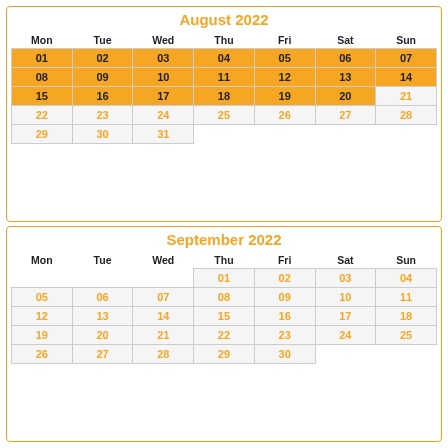August 2022
| Mon | Tue | Wed | Thu | Fri | Sat | Sun |
| --- | --- | --- | --- | --- | --- | --- |
| 01 | 02 | 03 | 04 | 05 | 06 | 07 |
| 08 | 09 | 10 | 11 | 12 | 13 | 14 |
| 15 | 16 | 17 | 18 | 19 | 20 | 21 |
| 22 | 23 | 24 | 25 | 26 | 27 | 28 |
| 29 | 30 | 31 |  |  |  |  |
September 2022
| Mon | Tue | Wed | Thu | Fri | Sat | Sun |
| --- | --- | --- | --- | --- | --- | --- |
|  |  |  | 01 | 02 | 03 | 04 |
| 05 | 06 | 07 | 08 | 09 | 10 | 11 |
| 12 | 13 | 14 | 15 | 16 | 17 | 18 |
| 19 | 20 | 21 | 22 | 23 | 24 | 25 |
| 26 | 27 | 28 | 29 | 30 |  |  |